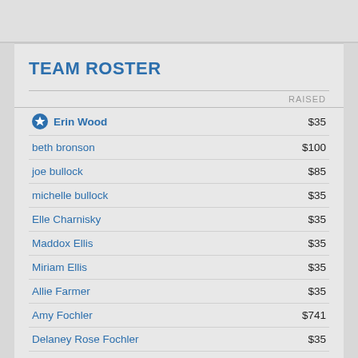TEAM ROSTER
| Name | RAISED |
| --- | --- |
| Erin Wood | $35 |
| beth bronson | $100 |
| joe bullock | $85 |
| michelle bullock | $35 |
| Elle Charnisky | $35 |
| Maddox Ellis | $35 |
| Miriam Ellis | $35 |
| Allie Farmer | $35 |
| Amy Fochler | $741 |
| Delaney Rose Fochler | $35 |
| Eliza Fochler | $35 |